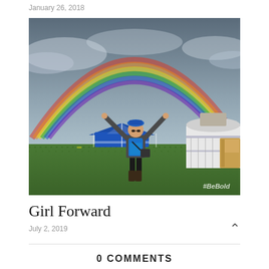January 26, 2018
[Figure (photo): A woman standing on a grassy Mongolian steppe with arms raised under a full rainbow, with a blue tent and a traditional yurt visible behind her. Watermark reads #BeBold.]
Girl Forward
July 2, 2019
0 COMMENTS